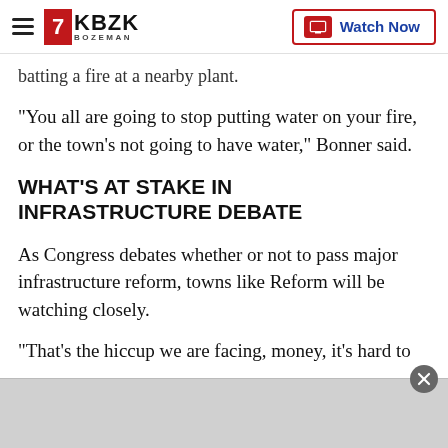KBZK BOZEMAN — Watch Now
batting a fire at a nearby plant.
"You all are going to stop putting water on your fire, or the town's not going to have water," Bonner said.
WHAT'S AT STAKE IN INFRASTRUCTURE DEBATE
As Congress debates whether or not to pass major infrastructure reform, towns like Reform will be watching closely.
"That's the hiccup we are facing, money, it's hard to